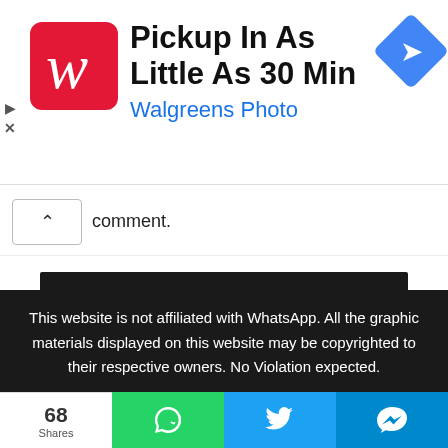[Figure (other): Walgreens Photo advertisement banner with Walgreens red W logo, text 'Pickup In As Little As 30 Min' and 'Walgreens Photo' in blue, and a blue navigation diamond icon. Play and X icons on the left edge.]
comment.
POST COMMENT
[Figure (other): Loading spinner / progress indicator grid of blue squares]
This website is not affiliated with WhatsApp. All the graphic materials displayed on this website may be copyrighted to their respective owners. No Violation expected.
68
Shares